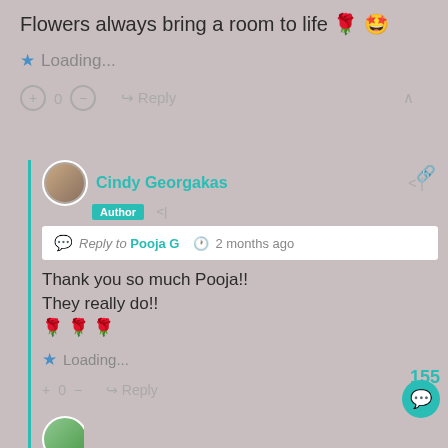Flowers always bring a room to life 🌹🤩
⭐ Loading...
+ 0 − ↪ Reply ∧
Cindy Georgakas
Author
Reply to Pooja G   🕐 2 months ago
Thank you so much Pooja!! They really do!! 🌹🌹🌹
⭐ Loading...
+ 0 − ↪ Reply ∧
155